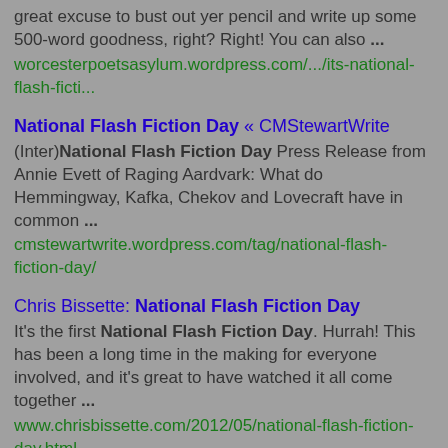great excuse to bust out yer pencil and write up some 500-word goodness, right? Right! You can also ...
worcesterpoetsasylum.wordpress.com/.../its-national-flash-ficti...
National Flash Fiction Day « CMStewartWrite
(Inter)National Flash Fiction Day Press Release from Annie Evett of Raging Aardvark: What do Hemmingway, Kafka, Chekov and Lovecraft have in common ...
cmstewartwrite.wordpress.com/tag/national-flash-fiction-day/
Chris Bissette: National Flash Fiction Day
It's the first National Flash Fiction Day. Hurrah! This has been a long time in the making for everyone involved, and it's great to have watched it all come together ...
www.chrisbissette.com/2012/05/national-flash-fiction-day.html
Ganymeder » Blog Archive » National Flash Fiction Day: